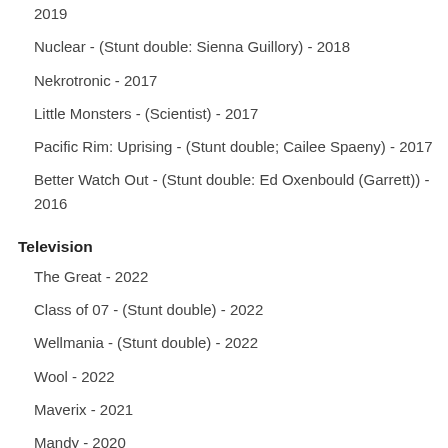2019
Nuclear - (Stunt double: Sienna Guillory) - 2018
Nekrotronic - 2017
Little Monsters - (Scientist) - 2017
Pacific Rim: Uprising - (Stunt double; Cailee Spaeny) - 2017
Better Watch Out - (Stunt double: Ed Oxenbould (Garrett)) - 2016
Television
The Great - 2022
Class of 07 - (Stunt double) - 2022
Wellmania - (Stunt double) - 2022
Wool - 2022
Maverix - 2021
Mandy - 2020
Hardball - 2020
Doctor Doctor - 2020
Gangs of London - (Stunt double) - 2019